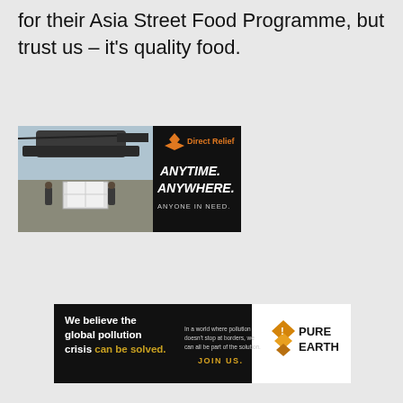for their Asia Street Food Programme, but trust us – it's quality food.
[Figure (illustration): Direct Relief advertisement banner: left side shows military helicopter with cargo being loaded, right side shows black background with orange bird logo, text 'Direct Relief ANYTIME. ANYWHERE. ANYONE IN NEED.']
[Figure (illustration): Pure Earth advertisement banner: black left section with white text 'We believe the global pollution crisis can be solved.' and yellow 'JOIN US.' text plus small body text; right section with Pure Earth logo (orange/yellow diamond shapes) and 'PURE EARTH' text in black on white background.]